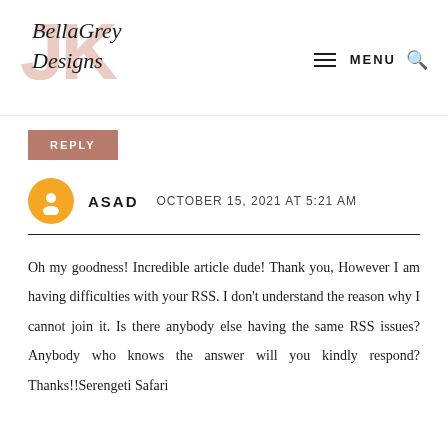BellaGrey Designs — MENU (navigation logo and header)
REPLY
ASAD   OCTOBER 15, 2021 AT 5:21 AM
Oh my goodness! Incredible article dude! Thank you, However I am having difficulties with your RSS. I don't understand the reason why I cannot join it. Is there anybody else having the same RSS issues? Anybody who knows the answer will you kindly respond? Thanks!!Serengeti Safari